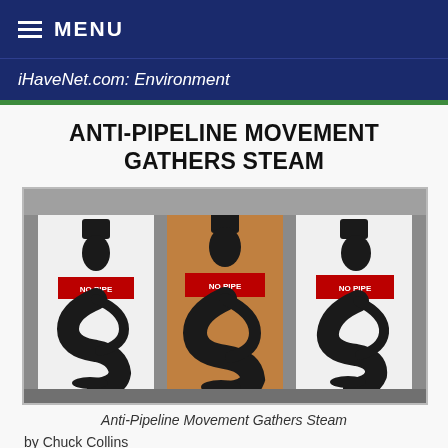MENU
iHaveNet.com: Environment
ANTI-PIPELINE MOVEMENT GATHERS STEAM
[Figure (photo): Three protest signs featuring a snake-like black figure with red 'NO PIPE' banner, displayed on white and brown cardboard backgrounds]
Anti-Pipeline Movement Gathers Steam
by Chuck Collins